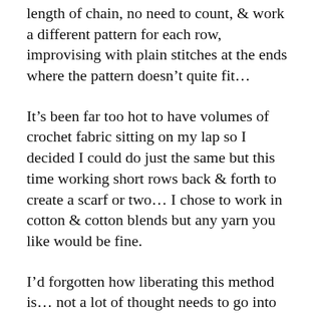length of chain, no need to count, & work a different pattern for each row, improvising with plain stitches at the ends where the pattern doesn’t quite fit…
It’s been far too hot to have volumes of crochet fabric sitting on my lap so I decided I could do just the same but this time working short rows back & forth to create a scarf or two… I chose to work in cotton & cotton blends but any yarn you like would be fine.
I’d forgotten how liberating this method is… not a lot of thought needs to go into what pattern to work on which particular row, just do what you like, whatever looks pleasing…